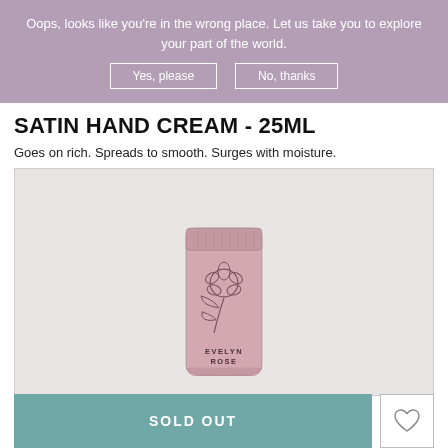Oops, looks like you're in the wrong place. Let us take you to explore your part of the world.
Yes, please | No, thanks
SATIN HAND CREAM - 25ML
Goes on rich. Spreads to smooth. Surges with moisture.
[Figure (photo): Pink tube of Evelyn Rose Satin Hand Cream with a rose botanical illustration on the front, standing upright on a light grey background.]
SOLD OUT